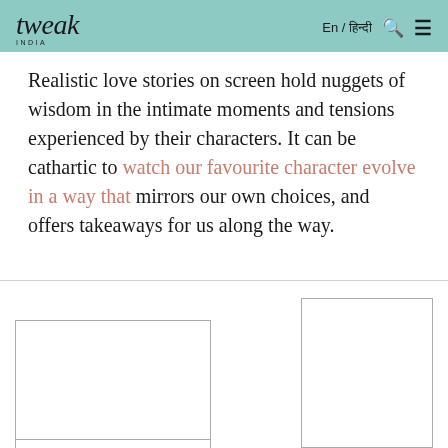tweak INDIA | En / हिन्दी
Realistic love stories on screen hold nuggets of wisdom in the intimate moments and tensions experienced by their characters. It can be cathartic to watch our favourite character evolve in a way that mirrors our own choices, and offers takeaways for us along the way.
[Figure (photo): Two partially visible image placeholders side by side at the bottom of the page, cut off at the page boundary.]